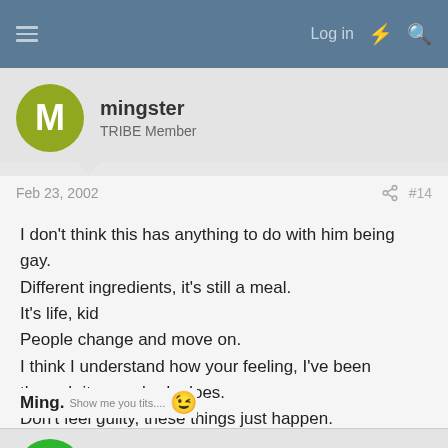Log in
mingster
TRIBE Member
Feb 23, 2002
#14
I don't think this has anything to do with him being gay.
Different ingredients, it's still a meal.
It's life, kid
People change and move on.
I think I understand how your feeling, I've been through it, everybody does.
Don't feel guilty, these things just happen.
Ming. Show me you tits....
TaCk OnE?
TRIBE Member